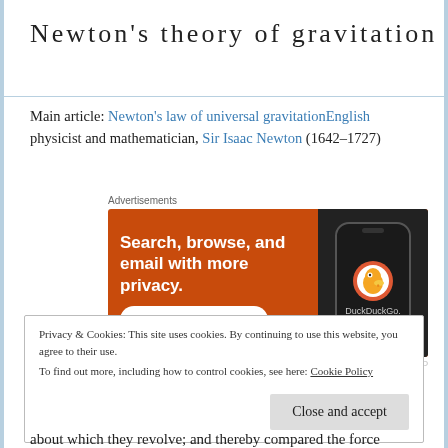Newton's theory of gravitation
Main article: Newton's law of universal gravitationEnglish physicist and mathematician, Sir Isaac Newton (1642–1727)
[Figure (screenshot): DuckDuckGo advertisement banner with orange background. Text reads: 'Search, browse, and email with more privacy. All in One Free App'. Shows a phone with DuckDuckGo logo on dark background. Label 'Advertisements' appears above. 'REPORT THIS AD' in small text below.]
Privacy & Cookies: This site uses cookies. By continuing to use this website, you agree to their use.
To find out more, including how to control cookies, see here: Cookie Policy
Close and accept
about which they revolve; and thereby compared the force